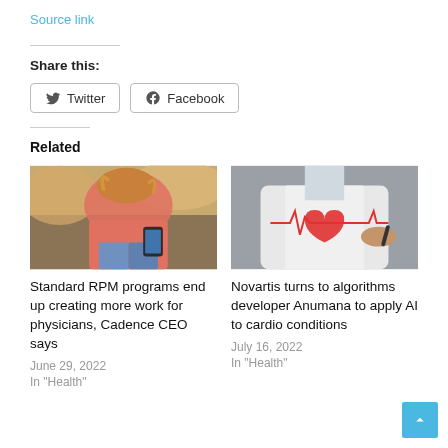Source link
Share this:
Twitter  Facebook
Related
[Figure (photo): Person in pink shirt holding a smartphone, sitting outdoors]
Standard RPM programs end up creating more work for physicians, Cadence CEO says
June 29, 2022
In "Health"
[Figure (photo): Doctor in white coat drawing a red heart with ECG line on a transparent surface]
Novartis turns to algorithms developer Anumana to apply AI to cardio conditions
July 16, 2022
In "Health"